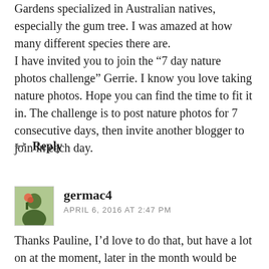Gardens specialized in Australian natives, especially the gum tree. I was amazed at how many different species there are.
I have invited you to join the "7 day nature photos challenge" Gerrie. I know you love taking nature photos. Hope you can find the time to fit it in. The challenge is to post nature photos for 7 consecutive days, then invite another blogger to join in each day.
↩ Reply
germac4
APRIL 6, 2016 AT 2:47 PM
Thanks Pauline, I'd love to do that, but have a lot on at the moment, later in the month would be better… Is there a time limit on it?